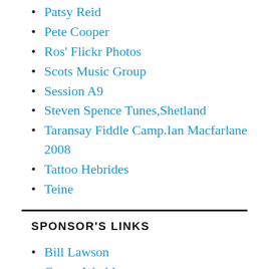Patsy Reid
Pete Cooper
Ros' Flickr Photos
Scots Music Group
Session A9
Steven Spence Tunes,Shetland
Taransay Fiddle Camp.Ian Macfarlane 2008
Tattoo Hebrides
Teine
SPONSOR'S LINKS
Bill Lawson
Carpet World
Harris Tweed Hebrides